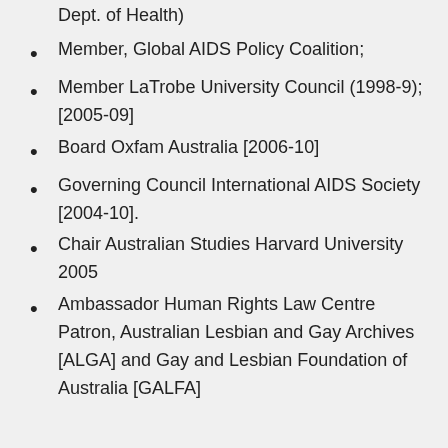Dept. of Health)
Member, Global AIDS Policy Coalition;
Member LaTrobe University Council (1998-9); [2005-09]
Board Oxfam Australia [2006-10]
Governing Council International AIDS Society [2004-10].
Chair Australian Studies Harvard University 2005
Ambassador Human Rights Law Centre Patron, Australian Lesbian and Gay Archives [ALGA] and Gay and Lesbian Foundation of Australia [GALFA]